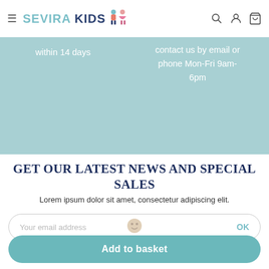SEVIRA KIDS — navigation header with hamburger menu, logo, search, account, and basket icons
within 14 days
contact us by email or phone Mon-Fri 9am-6pm
GET OUR LATEST NEWS AND SPECIAL SALES
Lorem ipsum dolor sit amet, consectetur adipiscing elit.
Your email address
OK
Add to basket